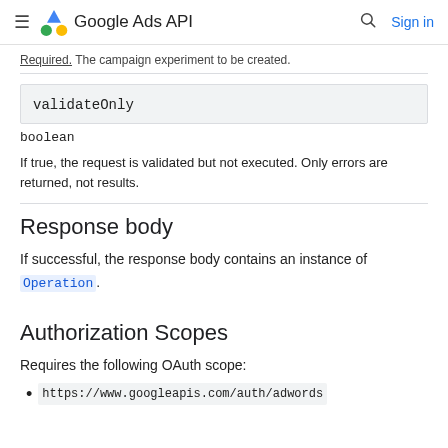Google Ads API  Sign in
Required. The campaign experiment to be created.
| validateOnly |
| --- |
boolean
If true, the request is validated but not executed. Only errors are returned, not results.
Response body
If successful, the response body contains an instance of Operation.
Authorization Scopes
Requires the following OAuth scope:
https://www.googleapis.com/auth/adwords